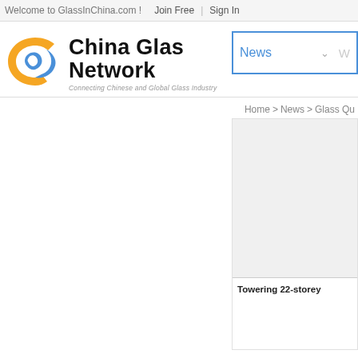Welcome to GlassInChina.com !  Join Free  |  Sign In
[Figure (logo): China Glass Network logo with blue and yellow circular swirl icon and bold black text 'China Glass Network', with italic subtitle 'Connecting Chinese and Global Glass Industry']
News ∨  W
Home > News > Glass Qu
[Figure (screenshot): Gray placeholder image area in a bordered panel on the right side of the page]
Towering 22-storey